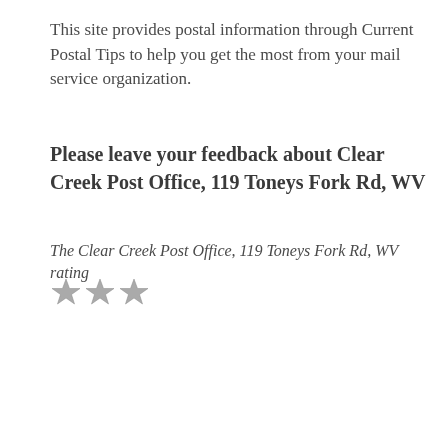This site provides postal information through Current Postal Tips to help you get the most from your mail service organization.
Please leave your feedback about Clear Creek Post Office, 119 Toneys Fork Rd, WV
The Clear Creek Post Office, 119 Toneys Fork Rd, WV rating ★★★